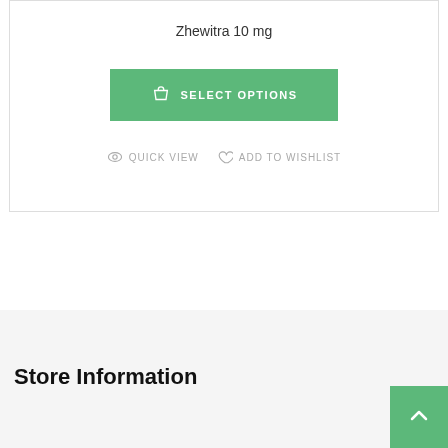Zhewitra 10 mg
[Figure (screenshot): Green 'SELECT OPTIONS' button with shopping bag icon]
QUICK VIEW   ADD TO WISHLIST
Store Information